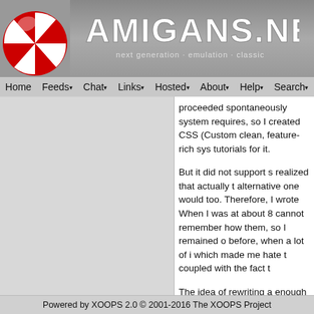[Figure (logo): Amigans.net website header with red checkered ball logo on left and AMIGANS.NET text in large stylized font, with tagline 'next generation · emulation · classic' on grey background]
Home  Feeds  Chat  Links  Hosted  About  Help  Search
proceeded spontaneously system requires, so I created CSS (Custom clean, feature-rich sys tutorials for it.

But it did not support s realized that actually t alternative one would too. Therefore, I wrote When I was at about 8 cannot remember how them, so I remained o before, when a lot of i which made me hate t coupled with the fact t

The idea of rewriting a enough for the purpos kind of promised myse between bigger ones s suboptimal system, th completing AVS first... bother getting acquai
Powered by XOOPS 2.0 © 2001-2016 The XOOPS Project